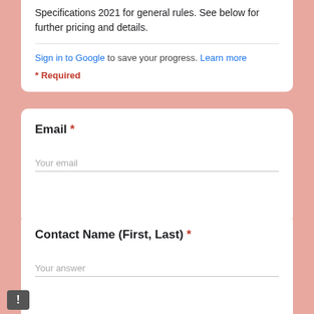Specifications 2021 for general rules. See below for further pricing and details.
Sign in to Google to save your progress. Learn more
* Required
Email *
Your email
Contact Name (First, Last) *
Your answer